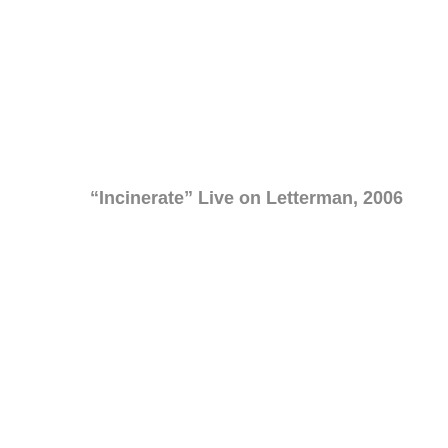“Incinerate” Live on Letterman, 2006